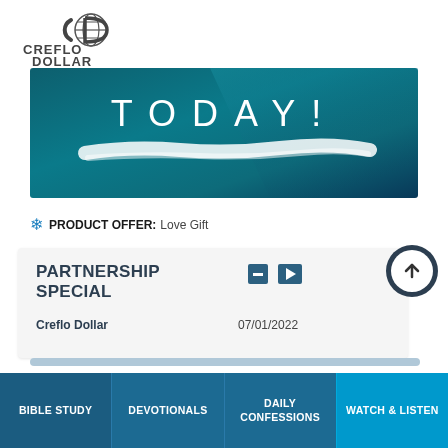[Figure (logo): Creflo Dollar Ministries logo with 'CD' globe icon in dark gray and text 'CREFLO DOLLAR MINISTRIES' below]
[Figure (illustration): Banner image with dark teal/blue gradient background reading 'TODAY!' in large white spaced letters with a white brushstroke paint stroke below]
❄ PRODUCT OFFER: Love Gift
PARTNERSHIP SPECIAL
Creflo Dollar
07/01/2022
[Figure (other): Navigation progress bar in steel blue]
BIBLE STUDY
DEVOTIONALS
DAILY CONFESSIONS
WATCH & LISTEN